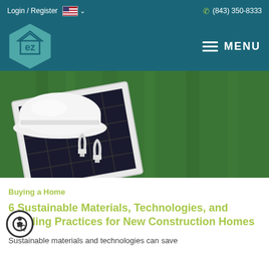Login / Register   (843) 350-8333
[Figure (logo): EZ home logo hexagon teal with 'ez' text, and MENU hamburger button]
[Figure (photo): Solar panel with hard hat and energy-saving light bulbs on green grass background]
Buying a Home
6 Sustainable Materials, Technologies, and Building Practices for New Construction Homes
Sustainable materials and technologies can save